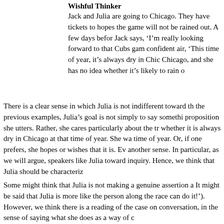Wishful Thinker
Jack and Julia are going to Chicago. They have tickets to hopes the game will not be rained out. A few days before Jack says, ‘I’m really looking forward to that Cubs game confident air, ‘This time of year, it’s always dry in Chica Chicago, and she has no idea whether it’s likely to rain o
There is a clear sense in which Julia is not indifferent toward th the previous examples, Julia’s goal is not simply to say somethi proposition she utters. Rather, she cares particularly about the tr whether it is always dry in Chicago at that time of year. She wa time of year. Or, if one prefers, she hopes or wishes that it is. Ev another sense. In particular, as we will argue, speakers like Julia toward inquiry. Hence, we think that Julia should be characteriz
Some might think that Julia is not making a genuine assertion a It might be said that Julia is more like the person along the race can do it!’). However, we think there is a reading of the case on conversation, in the sense of saying what she does as a way of c